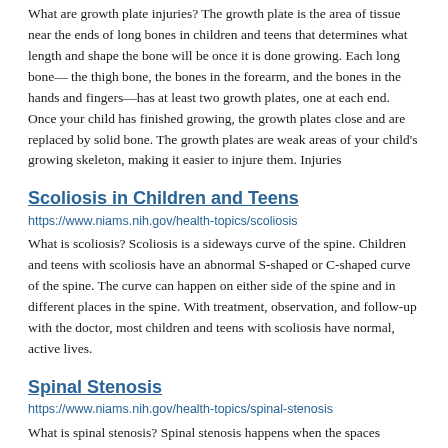What are growth plate injuries? The growth plate is the area of tissue near the ends of long bones in children and teens that determines what length and shape the bone will be once it is done growing. Each long bone— the thigh bone, the bones in the forearm, and the bones in the hands and fingers—has at least two growth plates, one at each end. Once your child has finished growing, the growth plates close and are replaced by solid bone. The growth plates are weak areas of your child's growing skeleton, making it easier to injure them. Injuries
Scoliosis in Children and Teens
https://www.niams.nih.gov/health-topics/scoliosis
What is scoliosis? Scoliosis is a sideways curve of the spine. Children and teens with scoliosis have an abnormal S-shaped or C-shaped curve of the spine. The curve can happen on either side of the spine and in different places in the spine. With treatment, observation, and follow-up with the doctor, most children and teens with scoliosis have normal, active lives.
Spinal Stenosis
https://www.niams.nih.gov/health-topics/spinal-stenosis
What is spinal stenosis? Spinal stenosis happens when the spaces